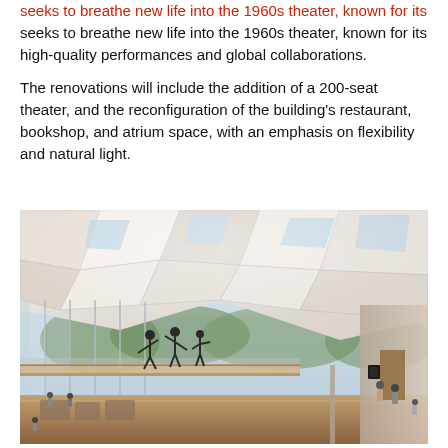seeks to breathe new life into the 1960s theater, known for its high-quality performances and global collaborations.
The renovations will include the addition of a 200-seat theater, and the reconfiguration of the building's restaurant, bookshop, and atrium space, with an emphasis on flexibility and natural light.
[Figure (photo): Architectural rendering of a modern theater interior atrium showing a geometric faceted white ceiling with skylights, floor-to-ceiling glass walls overlooking trees, performers on an upper level, and visitors on a lower level with seating areas and a restaurant space.]